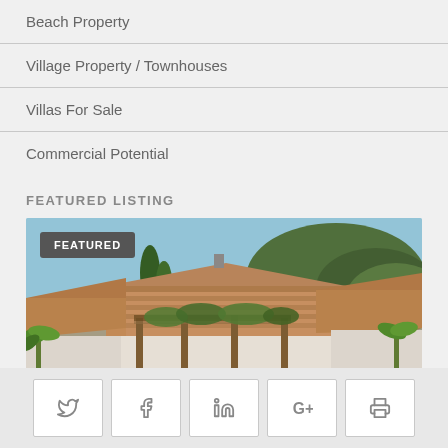Beach Property
Village Property / Townhouses
Villas For Sale
Commercial Potential
FEATURED LISTING
[Figure (photo): Exterior photo of a Mediterranean-style property with terracotta tiled roofs, wooden pergola covered in vines, white walls, palm plants, and green hills in the background under a clear blue sky. A dark grey 'FEATURED' badge overlays the top-left corner.]